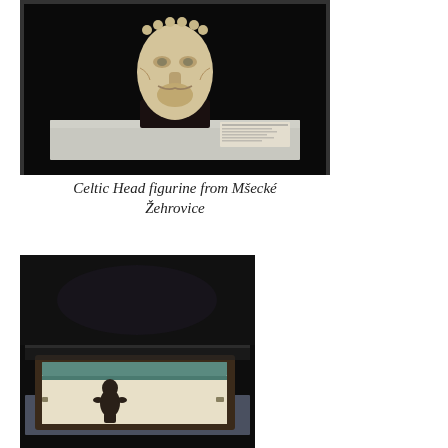[Figure (photo): Museum display case showing a Celtic stone head figurine from Mšecké Žehrovice, with a small label placard visible in the lower right of the case. The figurine is pale stone with carved facial features and decorative elements, set on a dark pedestal against a dark background.]
Celtic Head figurine from Mšecké Žehrovice
[Figure (photo): Museum display showing a small dark figurine (likely a Venus figurine) lying in a fitted display box with cream and teal-green lining, inside a glass display case against a dark background.]